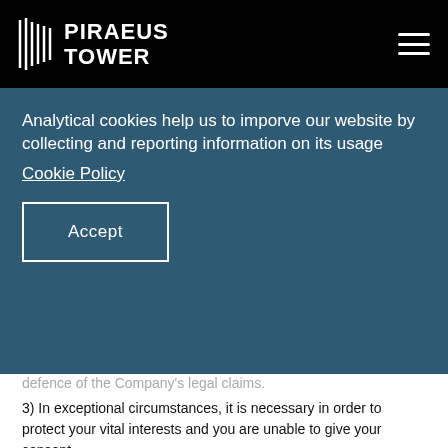PIRAEUS TOWER
Analytical cookies help us to imporve our website by collecting and reporting information on its usage
Cookie Policy
Accept
defence of the Company's legal claims.
3) In exceptional circumstances, it is necessary in order to protect your vital interests and you are unable to give your consent.
5. What types of Personal Data we collect and how we use them
5.1 Data of BoD Members / Shareholders